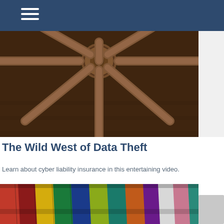[Figure (photo): Close-up photograph of an old wooden wagon wheel hub and spokes, rustic brown wood texture, viewed from below center]
The Wild West of Data Theft
Learn about cyber liability insurance in this entertaining video.
[Figure (photo): Colorful hanging prayer flags or fabric banners in red, yellow, green, blue, white and other colors, strung together outdoors]